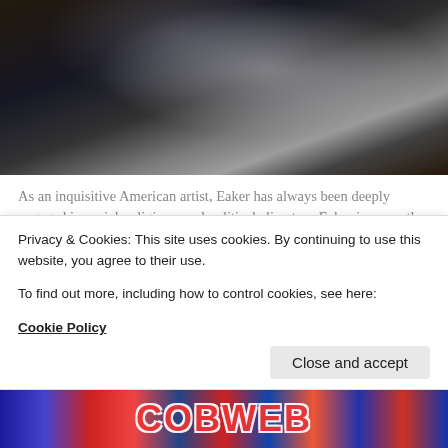[Figure (photo): Dark painterly portrait image, appears to be an artistic painting of a figure in dark tones with white/grey highlights, possibly depicting Elvis or a similar subject]
As an inquisitive American artist, Eaker has always been deeply engaged in social, religious, and political climates.  Eaker is currently working on a mural painting entitled “Elvis: An American Hymn.” Through it, Eaker is trying to bring affirming answers to issues of race, integration and hope so desperately needed at this moment in America...
“Brother Cobweb,” A. Eaker
Privacy & Cookies: This site uses cookies. By continuing to use this website, you agree to their use.
To find out more, including how to control cookies, see here:
Cookie Policy
[Figure (photo): Bottom strip showing colorful text/logo in red and blue tones, partially visible, appears to be an art or exhibition graphic]